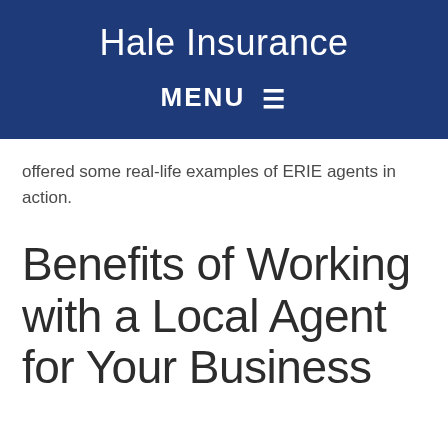Hale Insurance
MENU ☰
offered some real-life examples of ERIE agents in action.
Benefits of Working with a Local Agent for Your Business